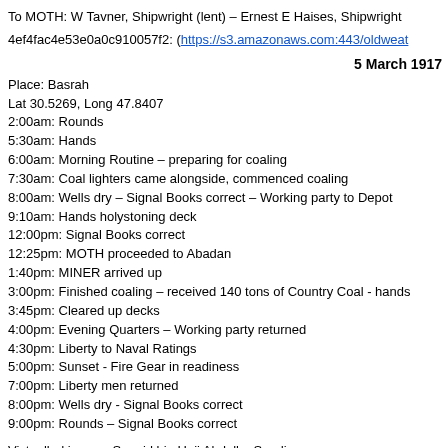To MOTH: W Tavner, Shipwright (lent) – Ernest E Haises, Shipwright
4ef4fac4e53e0a0c910057f2: (https://s3.amazonaws.com:443/oldweat
5 March 1917
Place: Basrah
Lat 30.5269, Long 47.8407
2:00am: Rounds
5:30am: Hands
6:00am: Morning Routine – preparing for coaling
7:30am: Coal lighters came alongside, commenced coaling
8:00am: Wells dry – Signal Books correct – Working party to Depot
9:10am: Hands holystoning deck
12:00pm: Signal Books correct
12:25pm: MOTH proceeded to Abadan
1:40pm: MINER arrived up
3:00pm: Finished coaling – received 140 tons of Country Coal - hands
3:45pm: Cleared up decks
4:00pm: Evening Quarters – Working party returned
4:30pm: Liberty to Naval Ratings
5:00pm: Sunset - Fire Gear in readiness
7:00pm: Liberty men returned
8:00pm: Wells dry - Signal Books correct
9:00pm: Rounds – Signal Books correct
Victualled in error Saqqid bin Haji Abdulla, Seedie
AM – Joined
From Shore: Seedies: Sultan Abdul Rezak – Saqqid bin Haji Abdulla –